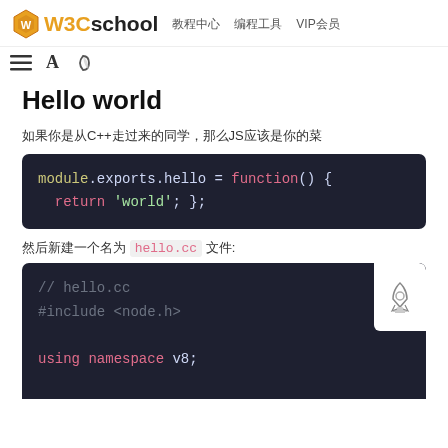W3Cschool  教程中心  编程工具  VIP会员
Hello world
如果你是从C++走过来的同学，那么JS应该是你的菜
[Figure (screenshot): Code block showing: module.exports.hello = function() { return 'world'; };]
然后新建一个名为 hello.cc 文件:
[Figure (screenshot): Code block showing: // hello.cc  #include <node.h>  using namespace v8;  void Method(const]